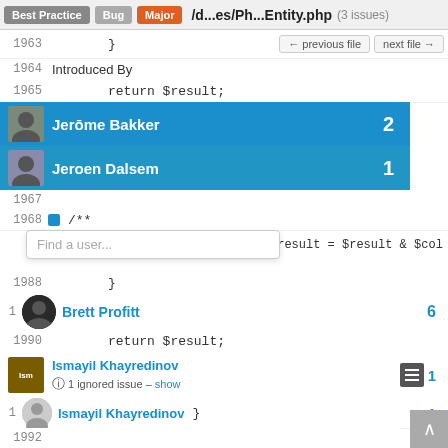Best Practice  Bug  Major  /d...es/Ph...Entity.php (3 issues)
1963  }
← previous file   next file →
1964  Introduced By
1965  return $result;
Jerōme Bakker  2
Jeroen Dalsem  1
1967
1968  /**
Find a user...
$result = $result & $col
1988  }
1  Brett Profitt  6
1990  return $result;
Ismayil Khayredinov  1  ⓘ 1 ignored issue – show
1  Ismayil Khayredinov  1  }
1992
1993  /**
2101